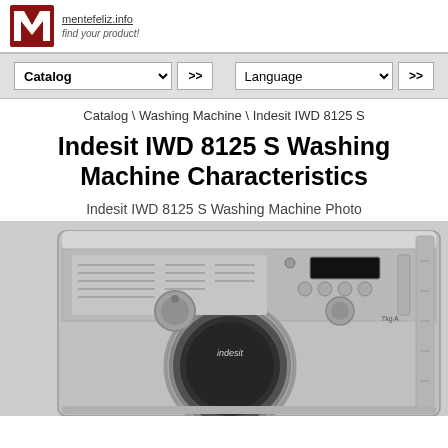mentefeliz.info find your product!
Catalog >> Language >>
Catalog \ Washing Machine \ Indesit IWD 8125 S
Indesit IWD 8125 S Washing Machine Characteristics
Indesit IWD 8125 S Washing Machine Photo
[Figure (photo): Photo of Indesit IWD 8125 S washing machine, silver/grey front-loading washing machine with control panel visible]